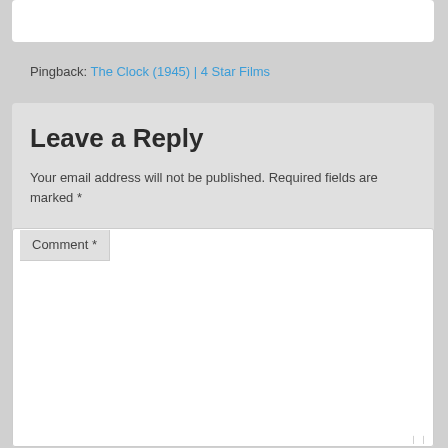Pingback: The Clock (1945) | 4 Star Films
Leave a Reply
Your email address will not be published. Required fields are marked *
Comment *